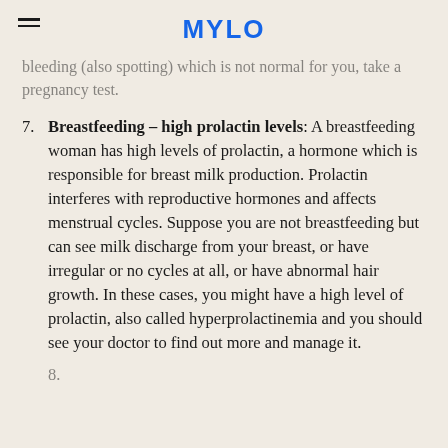MYLO
bleeding (also spotting) which is not normal for you, take a pregnancy test.
7. Breastfeeding – high prolactin levels: A breastfeeding woman has high levels of prolactin, a hormone which is responsible for breast milk production. Prolactin interferes with reproductive hormones and affects menstrual cycles. Suppose you are not breastfeeding but can see milk discharge from your breast, or have irregular or no cycles at all, or have abnormal hair growth. In these cases, you might have a high level of prolactin, also called hyperprolactinemia and you should see your doctor to find out more and manage it.
(partially visible next item)